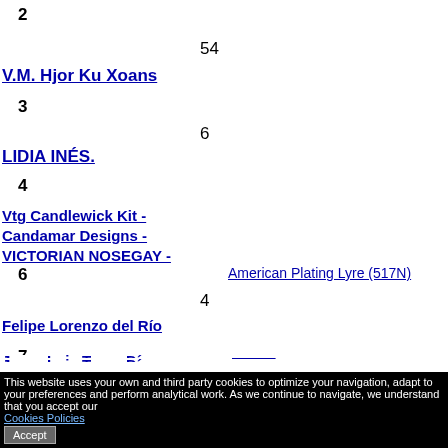2
54
V.M. Hjor Ku Xoans
3
6
LIDIA INÉS.
4
Vtg Candlewick Kit - Candamar Designs - VICTORIAN NOSEGAY - From
4
5
4
Jorge Luis Tovar Díaz
Creative Memories Sticker Protectors Accessory Storage 6 Total N
6
4
Felipe Lorenzo del Río
American Plating Lyre (517N)
7
This website uses your own and third party cookies to optimize your navigation, adapt to your preferences and perform analytical work. As we continue to navigate, we understand that you accept our Cookies Policies Accept